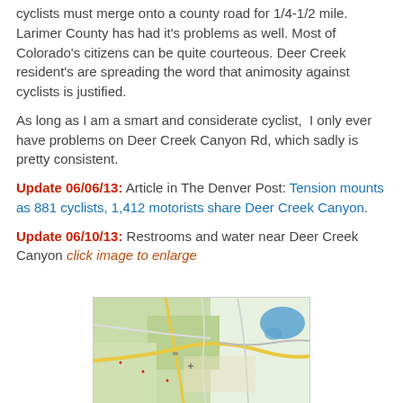cyclists must merge onto a county road for 1/4-1/2 mile. Larimer County has had it's problems as well. Most of Colorado's citizens can be quite courteous. Deer Creek resident's are spreading the word that animosity against cyclists is justified.
As long as I am a smart and considerate cyclist,  I only ever have problems on Deer Creek Canyon Rd, which sadly is pretty consistent.
Update 06/06/13: Article in The Denver Post: Tension mounts as 881 cyclists, 1,412 motorists share Deer Creek Canyon.
Update 06/10/13: Restrooms and water near Deer Creek Canyon click image to enlarge
[Figure (map): Google map showing Deer Creek Canyon area near Denver, Colorado with roads, green terrain, and a blue reservoir/lake visible in the upper right.]